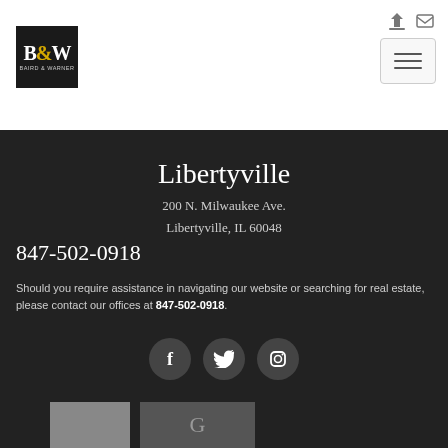[Figure (logo): Baird & Warner B&W logo, black background with gold ampersand]
[Figure (other): Navigation icons: login and email icons, plus hamburger menu button]
Libertyville
200 N. Milwaukee Ave.
Libertyville, IL 60048
847-502-0918
Should you require assistance in navigating our website or searching for real estate, please contact our offices at 847-502-0918.
[Figure (other): Social media icons: Facebook, Twitter, Instagram in dark circles]
[Figure (photo): Bottom thumbnail images partially visible]